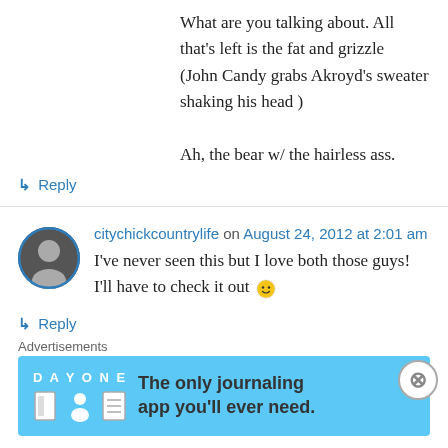What are you talking about. All that's left is the fat and grizzle
(John Candy grabs Akroyd's sweater shaking his head )

Ah, the bear w/ the hairless ass.
↳ Reply
citychickcountrylife on August 24, 2012 at 2:01 am
I've never seen this but I love both those guys! I'll have to check it out 🙂
↳ Reply
Advertisements
[Figure (infographic): Day One journaling app advertisement banner with light blue background, app icons, and text 'The only journaling app you'll ever need.']